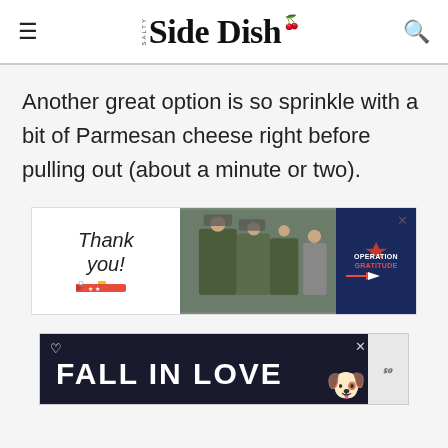Salty Side Dish
Another great option is so sprinkle with a bit of Parmesan cheese right before pulling out (about a minute or two).
[Figure (photo): Advertisement banner for Operation Gratitude showing 'Thank you!' text with a pencil graphic decorated with American flag stars and stripes, soldiers in camouflage, and the Operation Gratitude logo on a blue background]
[Figure (photo): Advertisement banner reading 'FALL IN LOVE' in large white bold text on a dark background, with a dog visible on the right side and a heart icon in the upper left. A close (x) button is visible top right.]